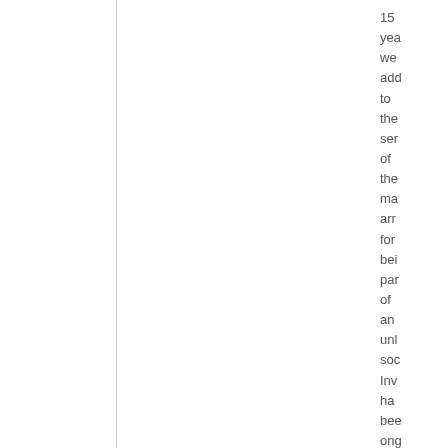15 yea we add to the ser of the ma arr for bei par of an unl soc Inv ha bee ong sin 31s